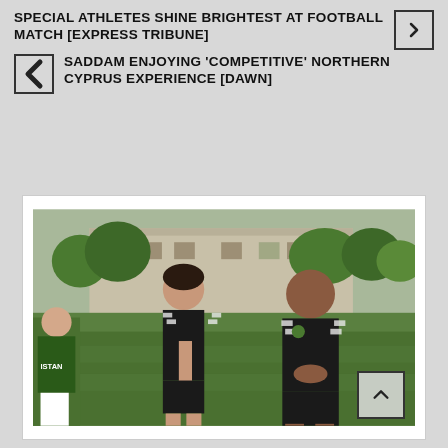SPECIAL ATHLETES SHINE BRIGHTEST AT FOOTBALL MATCH [EXPRESS TRIBUNE]
SADDAM ENJOYING 'COMPETITIVE' NORTHERN CYPRUS EXPERIENCE [DAWN]
[Figure (photo): Two men in black Hummel football jerseys standing on a grass football pitch. The man on the left is taller with dark hair, hand on chin in a thoughtful pose. The man on the right is bald and broader, with clasped hands. A building and trees visible in the background. A player in a green vest with 'ISTAN' visible on the left edge.]